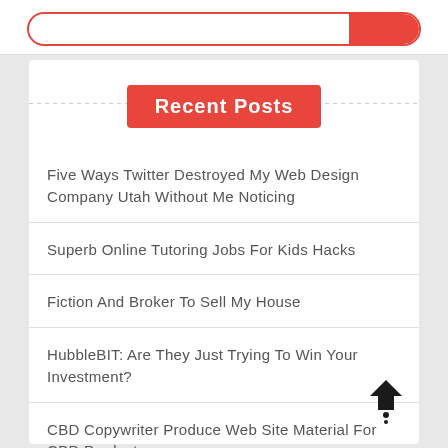Recent Posts
Five Ways Twitter Destroyed My Web Design Company Utah Without Me Noticing
Superb Online Tutoring Jobs For Kids Hacks
Fiction And Broker To Sell My House
HubbleBIT: Are They Just Trying To Win Your Investment?
CBD Copywriter Produce Web Site Material For CBD Products